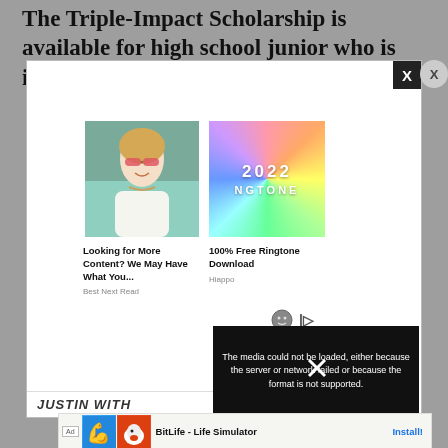The Triple-Impact Scholarship is available for high school junior who is into athletics.
[Figure (screenshot): Advertisement popup modal showing two ad cards: 'Looking for More Content? We May Have What You...' from Best Next Read, and '100% Free Ringtone Download' from Hiappo with colorful 2022 NGTONE branding. Below is a media player error overlay reading 'The media could not be loaded, either because the server or network failed or because the format is not supported.' A close X button is in the top right corner.]
[Figure (screenshot): Bottom advertisement bar for BitLife - Life Simulator app with Install button]